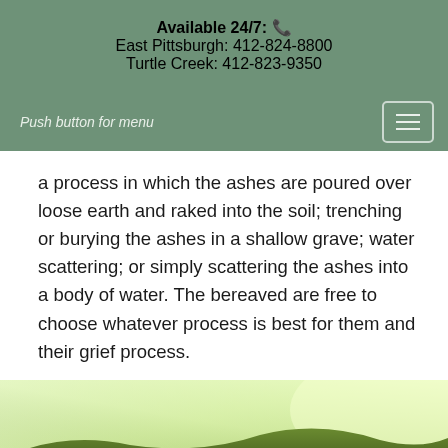Available 24/7: 🕐
East Pittsburgh: 412-824-8800
Turtle Creek: 412-823-9350
Push button for menu
a process in which the ashes are poured over loose earth and raked into the soil; trenching or burying the ashes in a shallow grave; water scattering; or simply scattering the ashes into a body of water. The bereaved are free to choose whatever process is best for them and their grief process.
[Figure (photo): Serene landscape photo with green rolling hills and misty/foggy light from the right side, conveying a peaceful natural scene.]